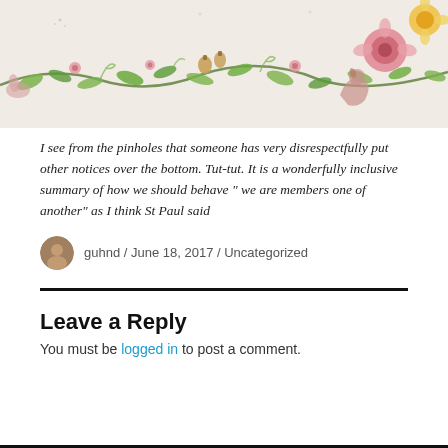[Figure (photo): A close-up photograph of a floral illustration or embroidery featuring colorful botanical motifs — vines, leaves, acorns, flowers, and a squirrel — against a light background, with visible pinholes along the bottom edge.]
I see from the pinholes that someone has very disrespectfully put other notices over the bottom. Tut-tut. It is a wonderfully inclusive summary of how we should behave ” we are members one of another” as I think St Paul said
guhnd / June 18, 2017 / Uncategorized
Leave a Reply
You must be logged in to post a comment.